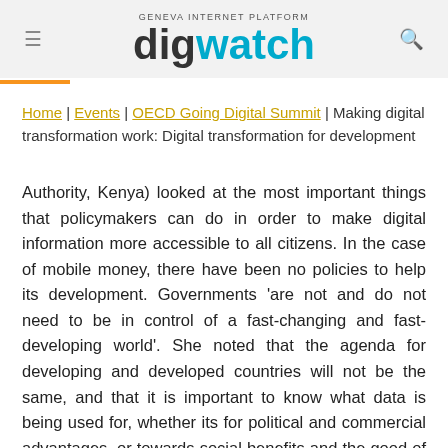GENEVA INTERNET PLATFORM digwatch
Home | Events | OECD Going Digital Summit | Making digital transformation work: Digital transformation for development
Authority, Kenya) looked at the most important things that policymakers can do in order to make digital information more accessible to all citizens. In the case of mobile money, there have been no policies to help its developing. Governments ‘are not and do not need to be in control of a fast-changing and fast-developing world’. She noted that the agenda for developing and developed countries will not be the same, and that it is important to know what data is being used for, whether its for political and commercial advantages, or towards social benefits and the good of people. She added that privacy concerns are not the same across the world, and